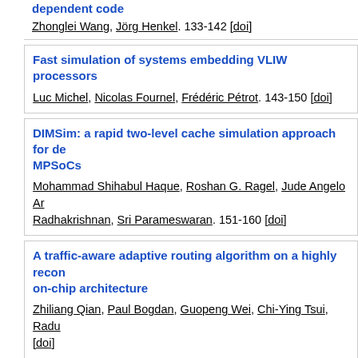dependent code
Zhonglei Wang, Jörg Henkel. 133-142 [doi]
Fast simulation of systems embedding VLIW processors
Luc Michel, Nicolas Fournel, Frédéric Pétrot. 143-150 [doi]
DIMSim: a rapid two-level cache simulation approach for de... MPSoCs
Mohammad Shihabul Haque, Roshan G. Ragel, Jude Angelo Ar... Radhakrishnan, Sri Parameswaran. 151-160 [doi]
A traffic-aware adaptive routing algorithm on a highly recon... on-chip architecture
Zhiliang Qian, Paul Bogdan, Guopeng Wei, Chi-Ying Tsui, Radu... [doi]
The roce-bush router: a case for routing-centric dimensiona... low-latency 3D noC routers